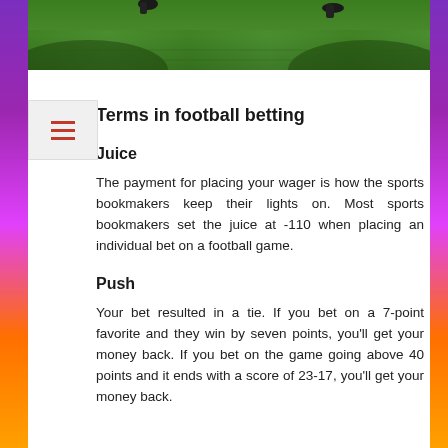[Figure (photo): Top portion of a football field with grass, showing feet/legs of players in action]
Terms in football betting
Juice
The payment for placing your wager is how the sports bookmakers keep their lights on. Most sports bookmakers set the juice at -110 when placing an individual bet on a football game.
Push
Your bet resulted in a tie. If you bet on a 7-point favorite and they win by seven points, you'll get your money back. If you bet on the game going above 40 points and it ends with a score of 23-17, you'll get your money back.